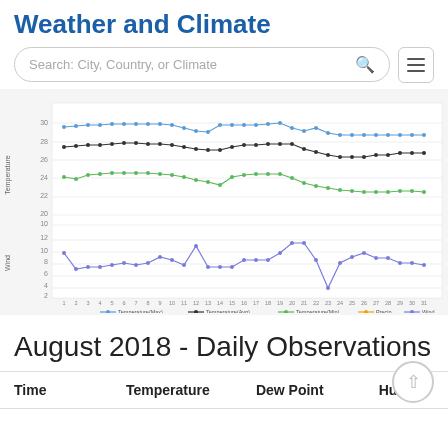Weather and Climate
[Figure (line-chart): Multi-line chart showing Temperature(Max) in blue, Temperature(Avg) in black, Temperature(Min) in green, Precip in orange, and Wind in purple/blue, over days 1-31.]
August 2018 - Daily Observations
| Time | Temperature | Dew Point | Hu... |
| --- | --- | --- | --- |